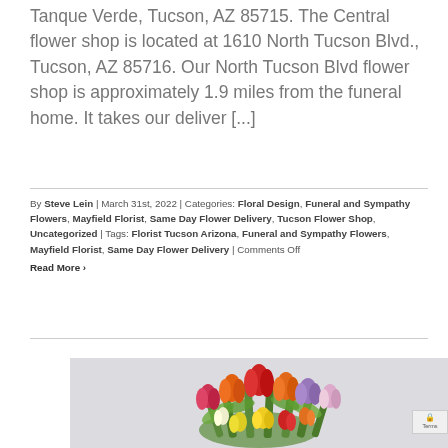Tanque Verde, Tucson, AZ 85715. The Central flower shop is located at 1610 North Tucson Blvd., Tucson, AZ 85716. Our North Tucson Blvd flower shop is approximately 1.9 miles from the funeral home. It takes our deliver [...]
By Steve Lein | March 31st, 2022 | Categories: Floral Design, Funeral and Sympathy Flowers, Mayfield Florist, Same Day Flower Delivery, Tucson Flower Shop, Uncategorized | Tags: Florist Tucson Arizona, Funeral and Sympathy Flowers, Mayfield Florist, Same Day Flower Delivery | Comments Off
Read More ›
[Figure (photo): A colorful bouquet of mixed tulips including red, orange, yellow, pink, purple, and white tulips with green leaves against a light gray background.]